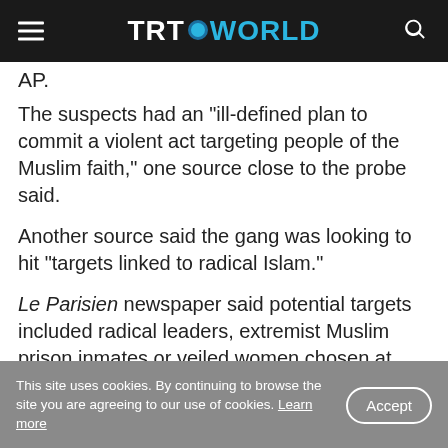TRT WORLD
AP.
The suspects had an "ill-defined plan to commit a violent act targeting people of the Muslim faith," one source close to the probe said.
Another source said the gang was looking to hit "targets linked to radical Islam."
Le Parisien newspaper said potential targets included radical leaders, extremist Muslim prison inmates or veiled women chosen at random.
This site uses cookies. By continuing to browse the site you are agreeing to our use of cookies. Learn more